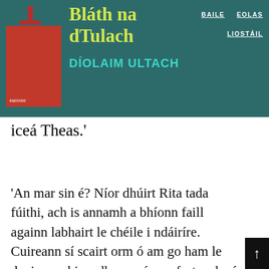Bláth na dTulach — DÍOLAIM ULTACH — BAILE  EOLAS  LIOSTÁIL
iceá Theas.'
'An mar sin é? Níor dhúirt Rita tada fúithi, ach is annamh a bhíonn faill againn labhairt le chéile i ndáiríre. Cuireann sí scairt orm ó am go ham le daoine a phiocadh suas ón aerfort, ach ní dóigh liom go gcaitheann sí an oiread sin ama sa choláiste anois, níl mé cinnte an bhfuil sí ag obair